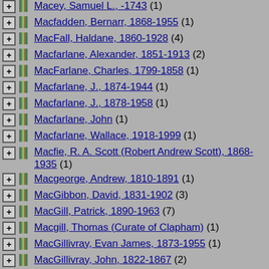Macey, Samuel L., -1743 (1)
Macfadden, Bernarr, 1868-1955 (1)
MacFall, Haldane, 1860-1928 (4)
Macfarlane, Alexander, 1851-1913 (2)
MacFarlane, Charles, 1799-1858 (1)
Macfarlane, J., 1874-1944 (1)
Macfarlane, J., 1878-1958 (1)
Macfarlane, John (1)
Macfarlane, Wallace, 1918-1999 (1)
Macfie, R. A. Scott (Robert Andrew Scott), 1868-1935 (1)
Macgeorge, Andrew, 1810-1891 (1)
MacGibbon, David, 1831-1902 (3)
MacGill, Patrick, 1890-1963 (7)
Macgill, Thomas (Curate of Clapham) (1)
MacGillivray, Evan James, 1873-1955 (1)
MacGillivray, John, 1822-1867 (2)
MacGillivray, William, 1796-1852 (1)